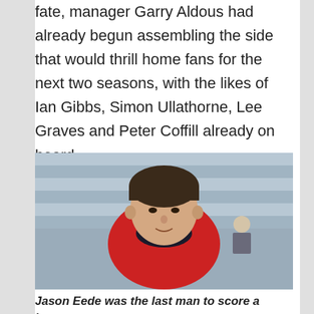fate, manager Garry Aldous had already begun assembling the side that would thrill home fans for the next two seasons, with the likes of Ian Gibbs, Simon Ullathorne, Lee Graves and Peter Coffill already on board.
[Figure (photo): Black and white/colour photo of a young man (Jason Eede) in a red football shirt, with stadium bleachers in the background and another person visible behind him.]
Jason Eede was the last man to score a league